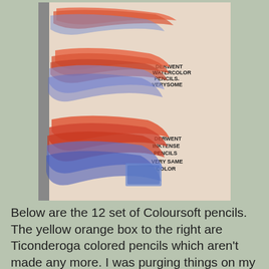[Figure (photo): A photo showing colored pencil swatches on white paper. Two sets of layered red/orange and blue pencil strokes are shown. Handwritten labels read 'Derwent Watercolor Pencils. Very Some' for the top swatch, and 'Derwent Inktense Pencils Very Same Color' for the bottom swatch.]
Below are the 12 set of Coloursoft pencils. The yellow orange box to the right are Ticonderoga colored pencils which aren't made any more. I was purging things on my desk and in my haste I threw these out. Cleaner's remorse. Only the yellow escaped my